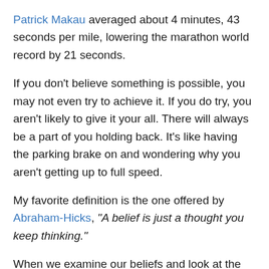Patrick Makau averaged about 4 minutes, 43 seconds per mile, lowering the marathon world record by 21 seconds.
If you don't believe something is possible, you may not even try to achieve it. If you do try, you aren't likely to give it your all. There will always be a part of you holding back. It's like having the parking brake on and wondering why you aren't getting up to full speed.
My favorite definition is the one offered by Abraham-Hicks, “A belief is just a thought you keep thinking.”
When we examine our beliefs and look at the thoughts behind them, we can often determine if those thoughts are serving or hindering us. By shifting those limiting thoughts to ones that support us, we change our beliefs—and significantly improve the chances that we will achieve our